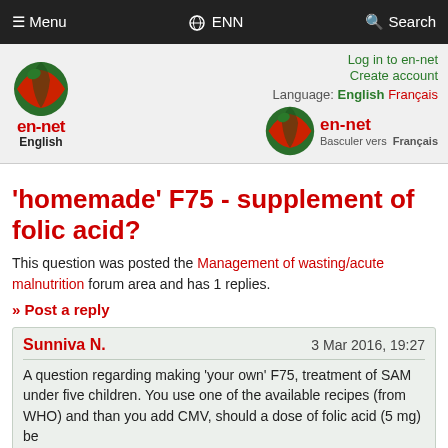Menu  ENN  Search
[Figure (logo): en-net logo (left) with globe icon, English label below. Login links: Log in to en-net, Create account. en-net logo (right), Language: English Français, Basculer vers Français label.]
'homemade' F75 - supplement of folic acid?
This question was posted the Management of wasting/acute malnutrition forum area and has 1 replies.
» Post a reply
Sunniva N.  3 Mar 2016, 19:27
A question regarding making 'your own' F75, treatment of SAM under five children. You use one of the available recipes (from WHO) and than you add CMV, should a dose of folic acid (5 mg) be